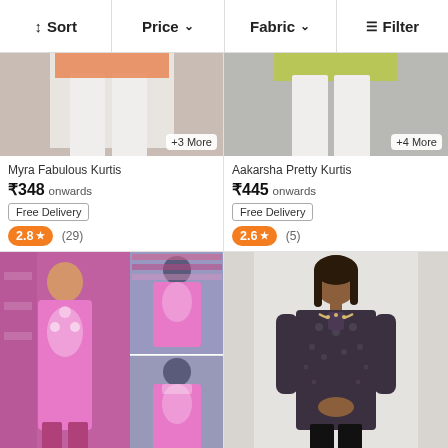↕ Sort   Price ∨   Fabric ∨   ≡ Filter
[Figure (photo): Product photo of Myra Fabulous Kurtis - lower half showing white pants and sandals, with +3 More badge]
Myra Fabulous Kurtis
₹348 onwards
Free Delivery
2.8 ★ (29)
[Figure (photo): Product photo of Aakarsha Pretty Kurtis - lower half showing white pants and sandals, with +4 More badge]
Aakarsha Pretty Kurtis
₹445 onwards
Free Delivery
2.6 ★ (5)
[Figure (photo): Pink embroidered kurti collage - large left image of pink kurti on model, top right and bottom right showing kurti on mannequin]
[Figure (photo): Dark printed kurti - woman wearing dark grey/black printed kurti with embroidered neckline]